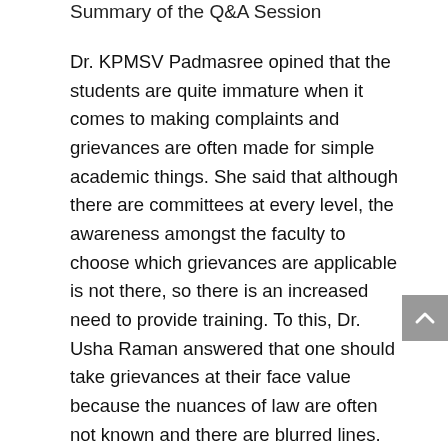Summary of the Q&A Session
Dr. KPMSV Padmasree opined that the students are quite immature when it comes to making complaints and grievances are often made for simple academic things. She said that although there are committees at every level, the awareness amongst the faculty to choose which grievances are applicable is not there, so there is an increased need to provide training. To this, Dr. Usha Raman answered that one should take grievances at their face value because the nuances of law are often not known and there are blurred lines. Moreover, there exist many generational differences between professors and students on shifting gender norms, pronouns and societal differences. Dr. Geeta K.